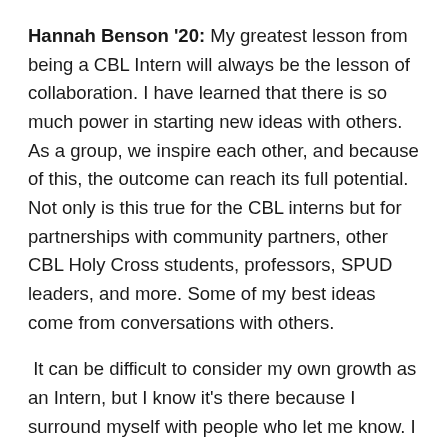Hannah Benson '20: My greatest lesson from being a CBL Intern will always be the lesson of collaboration. I have learned that there is so much power in starting new ideas with others. As a group, we inspire each other, and because of this, the outcome can reach its full potential. Not only is this true for the CBL interns but for partnerships with community partners, other CBL Holy Cross students, professors, SPUD leaders, and more. Some of my best ideas come from conversations with others.
It can be difficult to consider my own growth as an Intern, but I know it's there because I surround myself with people who let me know. I started in the CBL office as a sophomore, went abroad in my junior year, and came back as a senior and it still feels like yesterday that I was given the opportunity to start working closely with the office. I